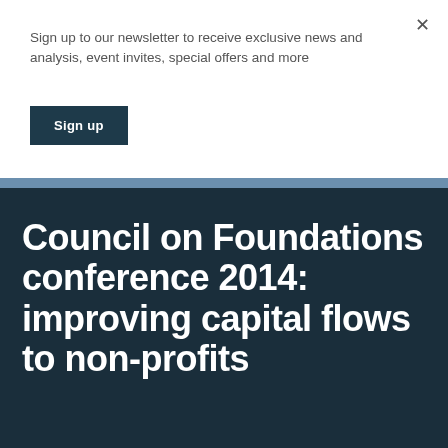Sign up to our newsletter to receive exclusive news and analysis, event invites, special offers and more
Sign up
Council on Foundations conference 2014: improving capital flows to non-profits